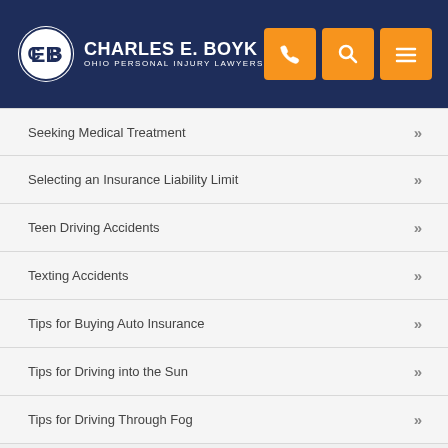[Figure (logo): Charles E. Boyk Ohio Personal Injury Lawyers logo with navigation icons (phone, search, menu) on dark navy header]
Seeking Medical Treatment
Selecting an Insurance Liability Limit
Teen Driving Accidents
Texting Accidents
Tips for Buying Auto Insurance
Tips for Driving into the Sun
Tips for Driving Through Fog